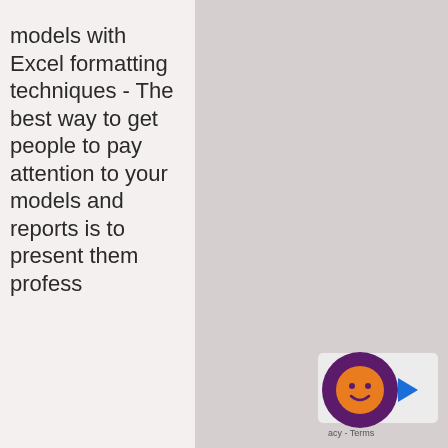models with Excel formatting techniques - The best way to get people to pay attention to your models and reports is to present them profess
[Figure (other): Chat widget icon with purple circular background and orange face emoji, with a blue arrow. Bottom right corner also shows 'acy - Terms' text from a cookie/terms bar.]